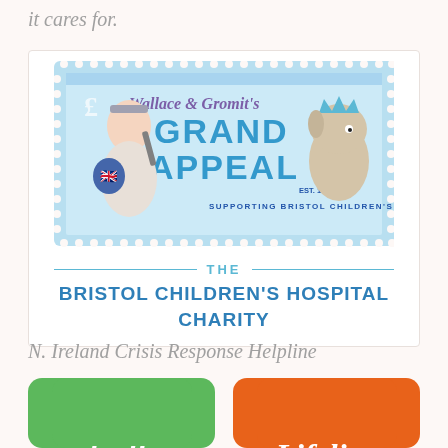it cares for.
[Figure (logo): Wallace & Gromit's Grand Appeal logo supporting Bristol Children's Hospital, Est. 1995. Shows Wallace dressed as a Roman with a wrench and Gromit wearing a crown, on a blue stamp-like background.]
THE BRISTOL CHILDREN'S HOSPITAL CHARITY
N. Ireland Crisis Response Helpline
[Figure (logo): Minding Your Head logo - green rounded rectangle with white italic text partially visible]
[Figure (logo): Lifeline logo - orange rounded rectangle with white italic text 'Lifeline' partially visible]